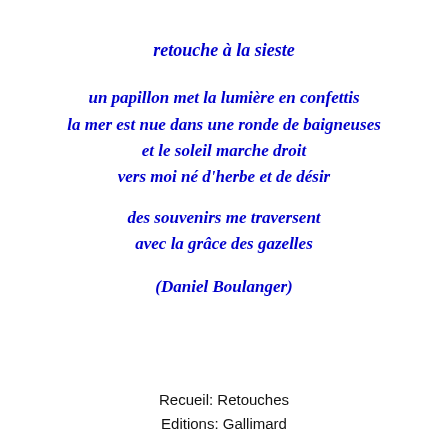retouche à la sieste
un papillon met la lumière en confettis
la mer est nue dans une ronde de baigneuses
et le soleil marche droit
vers moi né d'herbe et de désir

des souvenirs me traversent
avec la grâce des gazelles

(Daniel Boulanger)
Recueil: Retouches
Editions: Gallimard